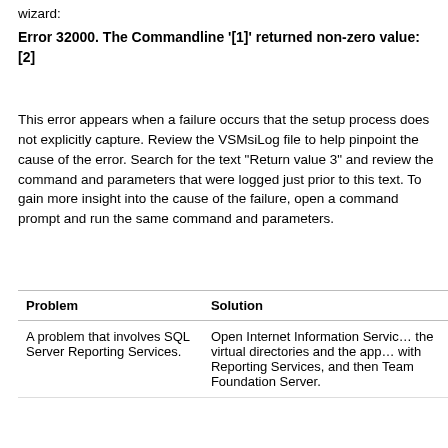wizard:
Error 32000. The Commandline '[1]' returned non-zero value: [2]
This error appears when a failure occurs that the setup process does not explicitly capture. Review the VSMsiLog file to help pinpoint the cause of the error. Search for the text "Return value 3" and review the command and parameters that were logged just prior to this text. To gain more insight into the cause of the failure, open a command prompt and run the same command and parameters.
| Problem | Solution |
| --- | --- |
| A problem that involves SQL Server Reporting Services. | Open Internet Internet Information Servic… the virtual directories and the app… with Reporting Services, and then… Team Foundation Server. |